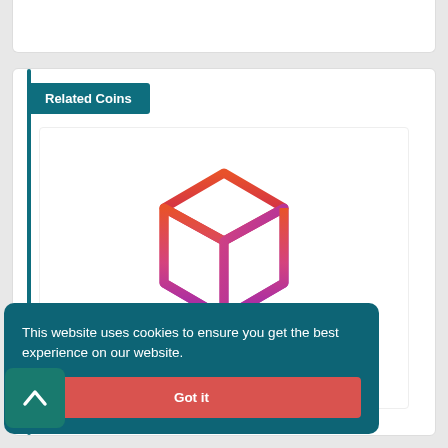Related Coins
[Figure (logo): 3D box/cube outline icon with gradient from orange-red at top to magenta/purple at bottom, with a downward arrow beneath the cube]
This website uses cookies to ensure you get the best experience on our website.
Got it